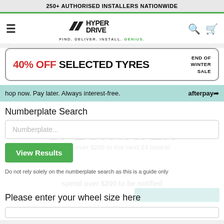250+ AUTHORISED INSTALLERS NATIONWIDE
[Figure (logo): HyperDrive logo with tagline FIND. DELIVER. INSTALL. GENIUS. and navigation icons (hamburger menu, search, cart)]
[Figure (infographic): Promotional banner: 40% OFF SELECTED TYRES - END OF WINTER SALE]
Shop now. Pay later. Always interest-free. afterpay
Numberplate Search
Numberplate...
View Results
Do not rely solely on the numberplate search as this is a guide only
Please enter your wheel size here